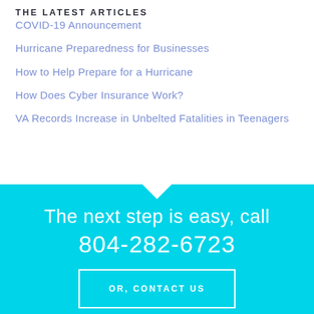THE LATEST ARTICLES
COVID-19 Announcement
Hurricane Preparedness for Businesses
How to Help Prepare for a Hurricane
How Does Cyber Insurance Work?
VA Records Increase in Unbelted Fatalities in Teenagers
The next step is easy, call 804-282-6723
OR, CONTACT US